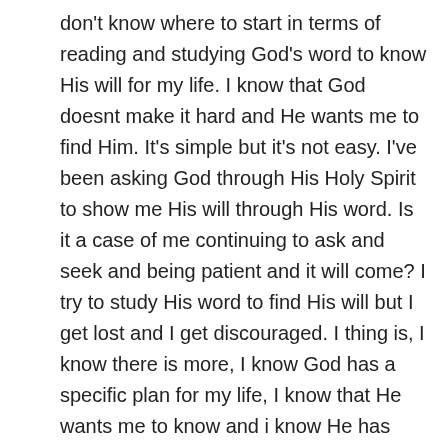don't know where to start in terms of reading and studying God's word to know His will for my life. I know that God doesnt make it hard and He wants me to find Him. It's simple but it's not easy. I've been asking God through His Holy Spirit to show me His will through His word. Is it a case of me continuing to ask and seek and being patient and it will come? I try to study His word to find His will but I get lost and I get discouraged. I thing is, I know there is more, I know God has a specific plan for my life, I know that He wants me to know and i know He has wonderful things prepared. That's the frustrating thing about it! Can you please help? Thank you